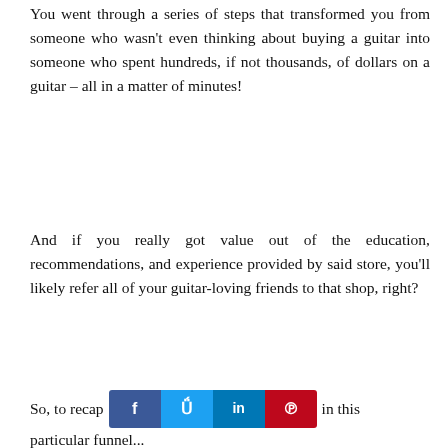You went through a series of steps that transformed you from someone who wasn't even thinking about buying a guitar into someone who spent hundreds, if not thousands, of dollars on a guitar – all in a matter of minutes!
And if you really got value out of the education, recommendations, and experience provided by said store, you'll likely refer all of your guitar-loving friends to that shop, right?
So, to recap [social icons] in this particular funnel...